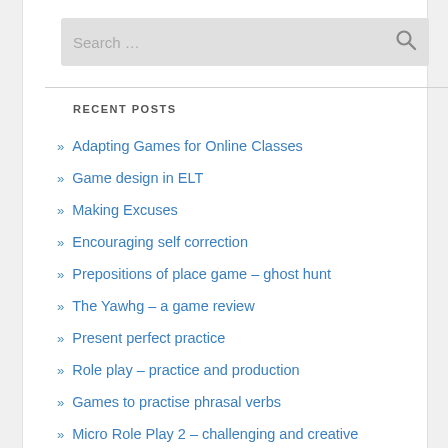[Figure (screenshot): Search bar with placeholder text 'Search ...' and a magnifying glass icon on grey background]
RECENT POSTS
Adapting Games for Online Classes
Game design in ELT
Making Excuses
Encouraging self correction
Prepositions of place game – ghost hunt
The Yawhg – a game review
Present perfect practice
Role play – practice and production
Games to practise phrasal verbs
Micro Role Play 2 – challenging and creative